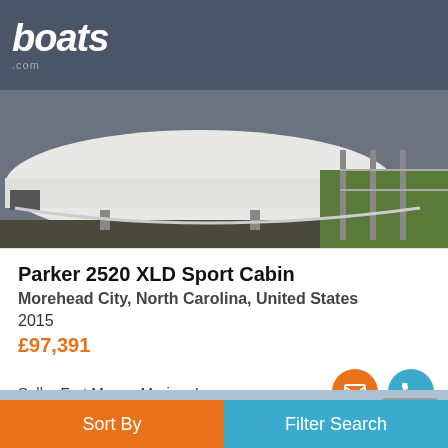boats.com
Toggle navigation
[Figure (photo): Boat hull on trailer/stands in storage yard, viewed from front-side angle]
Parker 2520 XLD Sport Cabin
Morehead City, North Carolina, United States
2015
£97,391
Seller Fort Macon Marina, Inc.
[Figure (photo): Partial view of second boat listing, blue/grey placeholder image with photo count badge showing 13]
Sort By
Filter Search